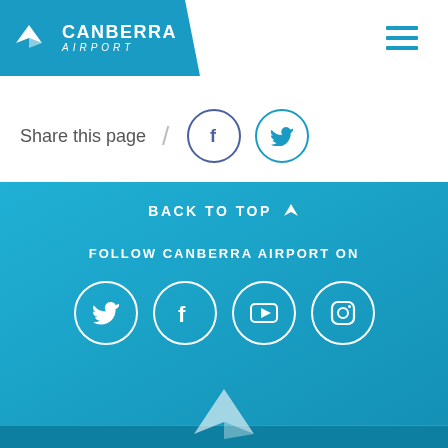[Figure (logo): Canberra Airport logo with paper plane icon on blue background]
[Figure (infographic): Hamburger menu icon (three horizontal lines) in blue]
Share this page
[Figure (infographic): Facebook circle icon (dark blue outline)]
[Figure (infographic): Twitter circle icon (light blue outline)]
BACK TO TOP ↑
FOLLOW CANBERRA AIRPORT ON
[Figure (infographic): Social media icons row: Twitter, Facebook, YouTube, Instagram in white circles on blue background]
[Figure (logo): Canberra Airport paper plane watermark at bottom center]